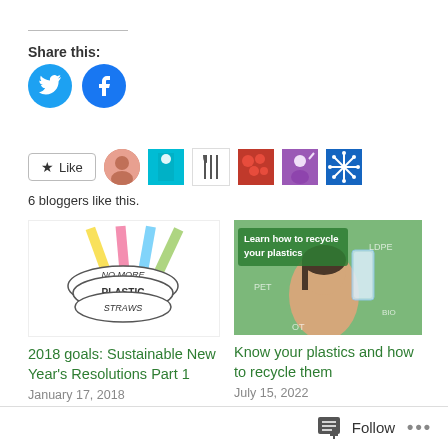Share this:
[Figure (infographic): Twitter and Facebook share buttons as blue circles with white icons]
[Figure (infographic): Like button with star icon, followed by 6 blogger avatar thumbnails]
6 bloggers like this.
[Figure (illustration): No more plastic straws illustration with colorful straws and banner ribbon]
2018 goals: Sustainable New Year's Resolutions Part 1
January 17, 2018
[Figure (photo): Woman looking at plastic cup with Learn how to recycle your plastics text on green background]
Know your plastics and how to recycle them
July 15, 2022
Follow ...